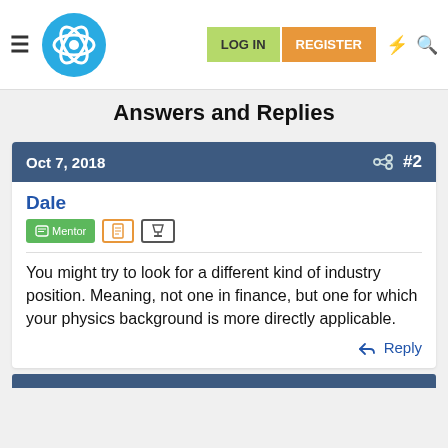LOG IN  REGISTER
Answers and Replies
Oct 7, 2018  #2
Dale
Mentor
You might try to look for a different kind of industry position. Meaning, not one in finance, but one for which your physics background is more directly applicable.
Reply